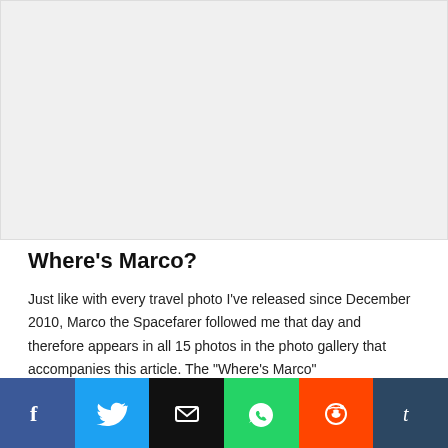[Figure (photo): Large image placeholder area (gray/white background), clipped at top of page]
Where's Marco?
Just like with every travel photo I've released since December 2010, Marco the Spacefarer followed me that day and therefore appears in all 15 photos in the photo gallery that accompanies this article. The "Where's Marco"